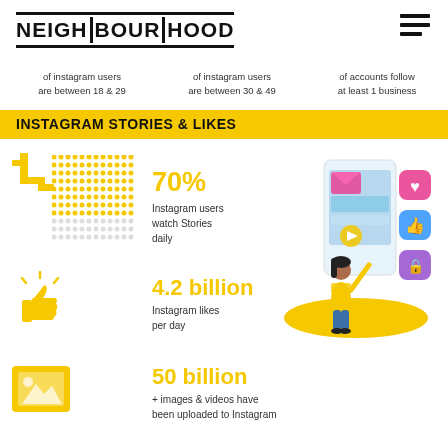[Figure (logo): Neighbourhood logo with segmented text and horizontal rules]
of instagram users are between 18 & 29
of instagram users are between 30 & 49
of accounts follow at least 1 business
INSTAGRAM STORIES & LIKES
[Figure (infographic): Key icon with dot grid representing 70% of Instagram users watching Stories daily]
70%
Instagram users watch Stories daily
[Figure (infographic): Thumbs up icon representing 4.2 billion Instagram likes per day]
4.2 billion
Instagram likes per day
[Figure (infographic): Photo/image icon representing 50 billion images and videos uploaded to Instagram]
50 billion
+ images & videos have been uploaded to Instagram
[Figure (illustration): Woman interacting with a large smartphone showing social media icons, on a yellow platform]